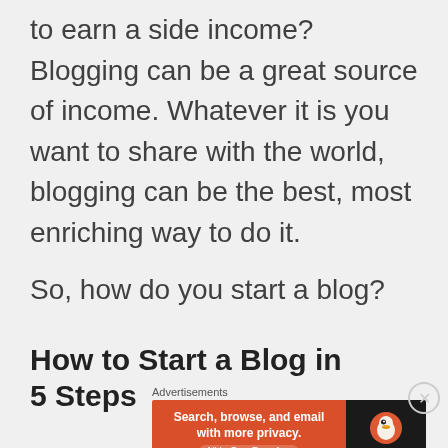to earn a side income? Blogging can be a great source of income. Whatever it is you want to share with the world, blogging can be the best, most enriching way to do it.
So, how do you start a blog?
How to Start a Blog in 5 Steps
Advertisements
[Figure (other): DuckDuckGo advertisement banner: 'Search, browse, and email with more privacy. All in One Free App' with DuckDuckGo logo on dark background]